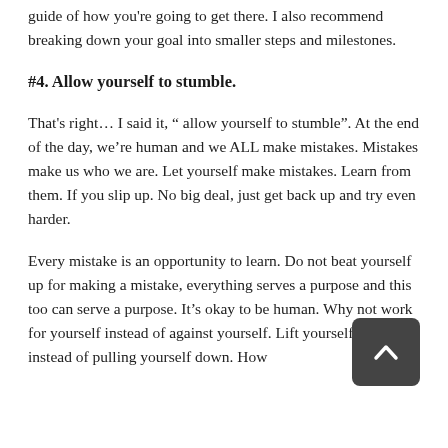guide of how you're going to get there. I also recommend breaking down your goal into smaller steps and milestones.
#4. Allow yourself to stumble.
That's right… I said it, " allow yourself to stumble". At the end of the day, we're human and we ALL make mistakes. Mistakes make us who we are. Let yourself make mistakes. Learn from them. If you slip up. No big deal, just get back up and try even harder.
Every mistake is an opportunity to learn. Do not beat yourself up for making a mistake, everything serves a purpose and this too can serve a purpose. It's okay to be human. Why not work for yourself instead of against yourself. Lift yourself up instead of pulling yourself down. How
[Figure (other): Scroll-to-top button: dark gray rounded rectangle with an upward-pointing chevron arrow in white, positioned in lower-right area overlapping the last text paragraph.]